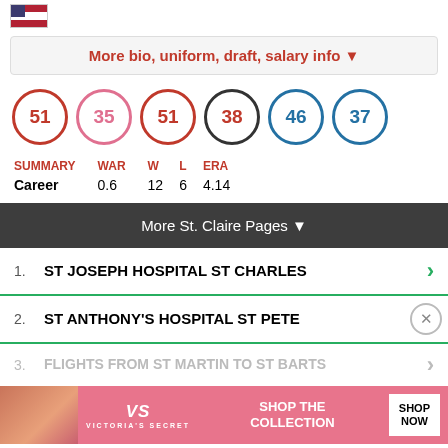[Figure (illustration): US flag icon]
More bio, uniform, draft, salary info ▼
[Figure (infographic): Row of jersey number circles: 51 (red outline), 35 (red outline), 51 (red outline), 38 (dark outline with red number), 46 (blue outline), 37 (blue outline)]
| SUMMARY | WAR | W | L | ERA |
| --- | --- | --- | --- | --- |
| Career | 0.6 | 12 | 6 | 4.14 |
More St. Claire Pages ▼
1. ST JOSEPH HOSPITAL ST CHARLES
2. ST ANTHONY'S HOSPITAL ST PETE
3. FLIGHTS FROM ST MARTIN TO ST BARTS
[Figure (photo): Victoria's Secret advertisement banner with woman's face, VS logo, SHOP THE COLLECTION text, and SHOP NOW button]
FERRY FROM ST MARTIN TO ST